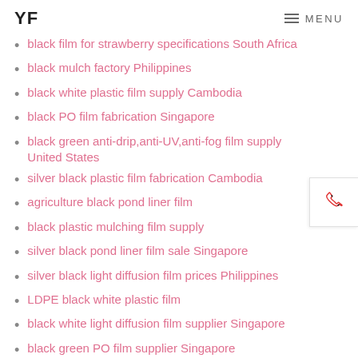YF   MENU
black film for strawberry specifications South Africa
black mulch factory Philippines
black white plastic film supply Cambodia
black PO film fabrication Singapore
black green anti-drip,anti-UV,anti-fog film supply United States
silver black plastic film fabrication Cambodia
agriculture black pond liner film
black plastic mulching film supply
silver black pond liner film sale Singapore
silver black light diffusion film prices Philippines
LDPE black white plastic film
black white light diffusion film supplier Singapore
black green PO film supplier Singapore